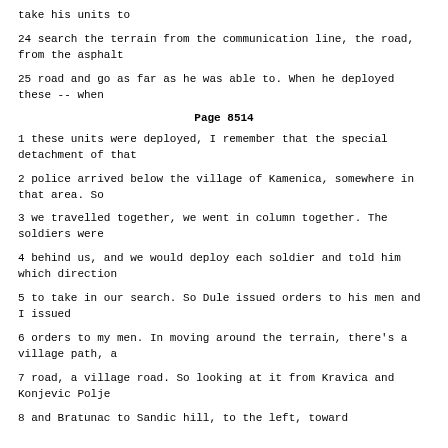take his units to
24 search the terrain from the communication line, the road, from the asphalt
25 road and go as far as he was able to. When he deployed these -- when
Page 8514
1 these units were deployed, I remember that the special detachment of that
2 police arrived below the village of Kamenica, somewhere in that area. So
3 we travelled together, we went in column together. The soldiers were
4 behind us, and we would deploy each soldier and told him which direction
5 to take in our search. So Dule issued orders to his men and I issued
6 orders to my men. In moving around the terrain, there's a village path, a
7 road, a village road. So looking at it from Kravica and Konjevic Polje
8 and Bratunac to Sandic hill, to the left, toward